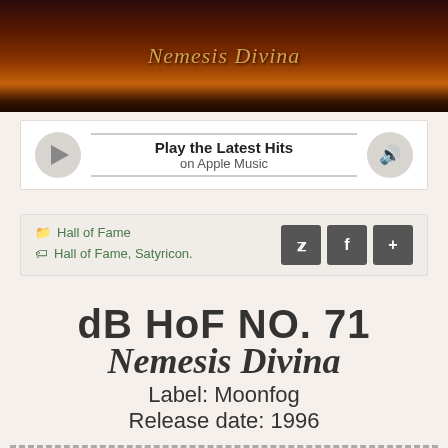[Figure (photo): Album cover image for Nemesis Divina with dark reddish-brown tones and the text 'Nemesis Divina' in golden italic font overlay]
Play the Latest Hits on Apple Music
Hall of Fame  Hall of Fame, Satyricon.
dB HoF NO. 71
Nemesis Divina
Label: Moonfog
Release date: 1996